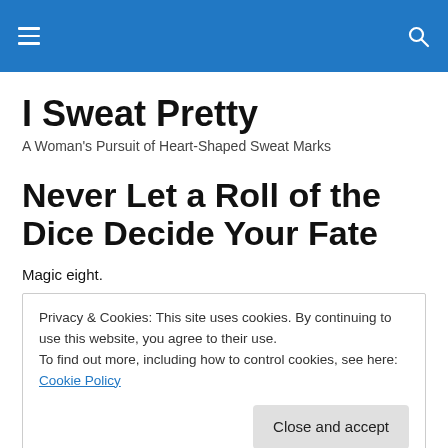I Sweat Pretty
A Woman's Pursuit of Heart-Shaped Sweat Marks
Never Let a Roll of the Dice Decide Your Fate
Magic eight.
Privacy & Cookies: This site uses cookies. By continuing to use this website, you agree to their use.
To find out more, including how to control cookies, see here: Cookie Policy